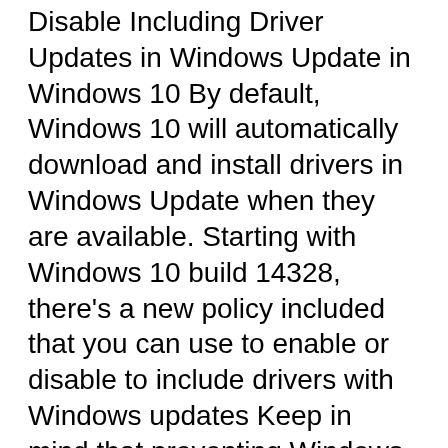Disable Including Driver Updates in Windows Update in Windows 10 By default, Windows 10 will automatically download and install drivers in Windows Update when they are available. Starting with Windows 10 build 14328, there's a new policy included that you can use to enable or disable to include drivers with Windows updates Keep in mind that preventing Windows 10 from installing driver updates can also have a negative effect, as outdated drivers can also cause issues in the long run. However, it’s a good option if you prefer to manually install device drivers you download from your PC manufacturer’s support website.